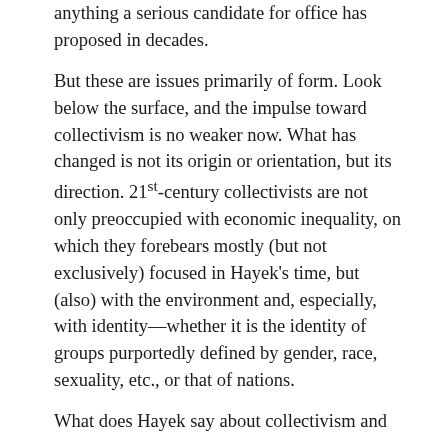anything a serious candidate for office has proposed in decades.
But these are issues primarily of form. Look below the surface, and the impulse toward collectivism is no weaker now. What has changed is not its origin or orientation, but its direction. 21st-century collectivists are not only preoccupied with economic inequality, on which they forebears mostly (but not exclusively) focused in Hayek's time, but (also) with the environment and, especially, with identity—whether it is the identity of groups purportedly defined by gender, race, sexuality, etc., or that of nations.
What does Hayek say about collectivism and